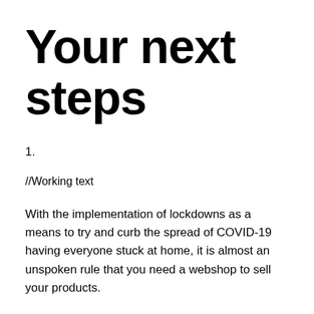Your next steps
1.
//Working text
With the implementation of lockdowns as a means to try and curb the spread of COVID-19 having everyone stuck at home, it is almost an unspoken rule that you need a webshop to sell your products.
If you have the privilege of being in the business of